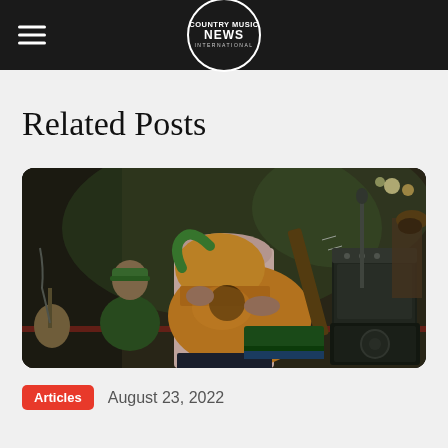Country Music News International
Related Posts
[Figure (photo): A musician playing an acoustic guitar on stage. A man wearing a green cap sits in the background. Stage amplifiers and equipment are visible on the right side.]
Articles   August 23, 2022